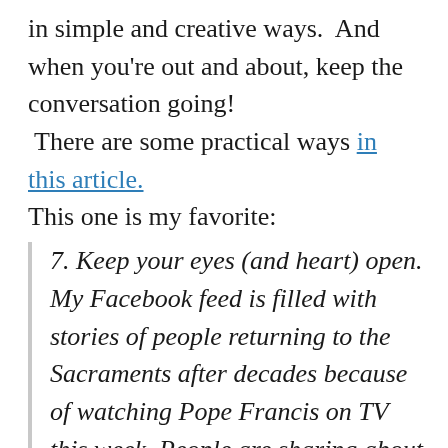in simple and creative ways.  And when you're out and about, keep the conversation going!  There are some practical ways in this article. This one is my favorite:
7. Keep your eyes (and heart) open. My Facebook feed is filled with stories of people returning to the Sacraments after decades because of watching Pope Francis on TV this week. People are sharing about entire bars that were glued to the screens showing the Holy Father, all joining in for a Hail Mary at the end. In a bar. I read one woman saying, "I'm not even a Christian and Pope Francis is my favorite human being alive!" Our